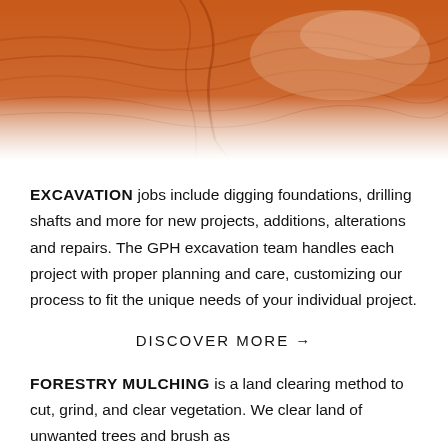[Figure (photo): Orange-brown earthen soil and rock surface, overhead perspective, excavation site photo used as hero/banner image.]
EXCAVATION jobs include digging foundations, drilling shafts and more for new projects, additions, alterations and repairs. The GPH excavation team handles each project with proper planning and care, customizing our process to fit the unique needs of your individual project.
DISCOVER MORE →
FORESTRY MULCHING is a land clearing method to cut, grind, and clear vegetation. We clear land of unwanted trees and brush as